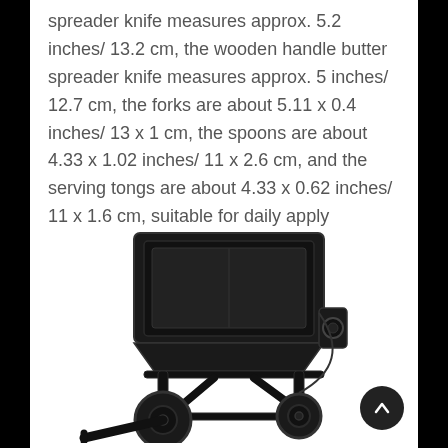spreader knife measures approx. 5.2 inches/ 13.2 cm, the wooden handle butter spreader knife measures approx. 5 inches/ 12.7 cm, the forks are about 5.11 x 0.4 inches/ 13 x 1 cm, the spoons are about 4.33 x 1.02 inches/ 11 x 2.6 cm, and the serving tongs are about 4.33 x 0.62 inches/ 11 x 1.6 cm, suitable for daily apply
[Figure (photo): A black wheeled broadcast spreader / fertilizer spreader with a large square hopper bin on top and pneumatic tires, shown on a white background.]